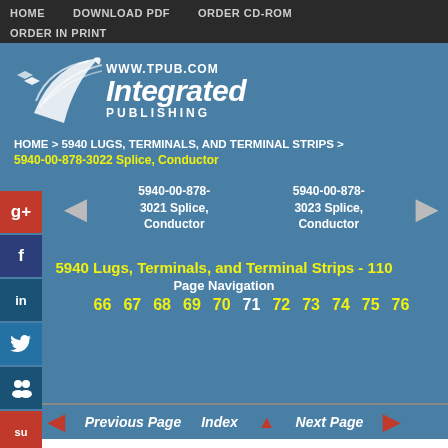HOME  DOWNLOAD PDF  ORDER CD-ROM  ORDER IN PRINT
[Figure (logo): Integrated Publishing logo with bird/feather graphic and www.tpub.com URL]
HOME > 5940 LUGS, TERMINALS, AND TERMINAL STRIPS > 5940-00-878-3022 Splice, Conductor
5940-00-878-3021 Splice, Conductor    5940-00-878-3023 Splice, Conductor
5940 Lugs, Terminals, and Terminal Strips - 110
Page Navigation
66  67  68  69  70  71  72  73  74  75  76
Previous Page  Index  Next Page